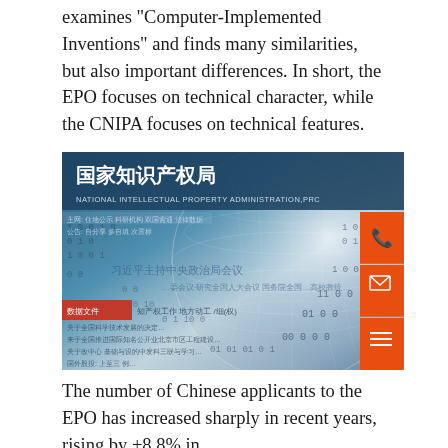examines "Computer-Implemented Inventions" and finds many similarities, but also important differences. In short, the EPO focuses on technical character, while the CNIPA focuses on technical features.
[Figure (screenshot): Screenshot of the CNIPA (National Intellectual Property Administration, PRC / 国家知识产权局) website homepage, overlaid with a digital globe and binary number patterns. Orange contact buttons visible on the right side.]
The number of Chinese applicants to the EPO has increased sharply in recent years, rising by +8.8% in 2019, ahead of the 1% increase for Europe and To show...